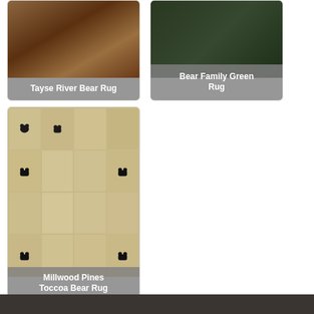[Figure (photo): Tayse River Bear Rug product image with label overlay]
[Figure (photo): Bear Family Green Rug product image with label overlay]
[Figure (photo): Millwood Pines Toccoa Bear Rug product image with label overlay showing bear silhouette tile pattern]
Filed Under: Log Cabin Rugs · Tagged With: Bear Decor, Bear Rugs, Bears, Hunting Lodge, Man Cave, Pine Cone Rugs, Pine Cones, Weekend Cabin